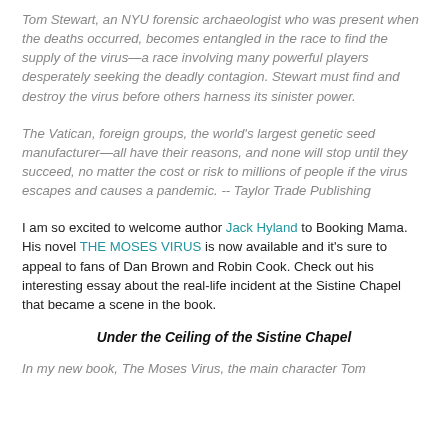Tom Stewart, an NYU forensic archaeologist who was present when the deaths occurred, becomes entangled in the race to find the supply of the virus—a race involving many powerful players desperately seeking the deadly contagion. Stewart must find and destroy the virus before others harness its sinister power.
The Vatican, foreign groups, the world's largest genetic seed manufacturer—all have their reasons, and none will stop until they succeed, no matter the cost or risk to millions of people if the virus escapes and causes a pandemic. -- Taylor Trade Publishing
I am so excited to welcome author Jack Hyland to Booking Mama. His novel THE MOSES VIRUS is now available and it's sure to appeal to fans of Dan Brown and Robin Cook. Check out his interesting essay about the real-life incident at the Sistine Chapel that became a scene in the book.
Under the Ceiling of the Sistine Chapel
In my new book, The Moses Virus, the main character Tom